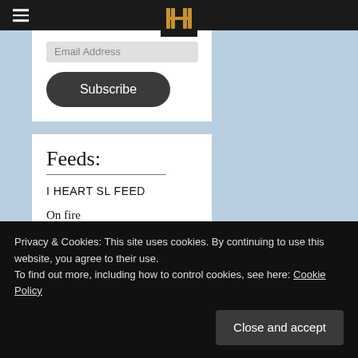Navigation bar with hamburger menu and logo
Email Address
Subscribe
Feeds:
I HEART SL FEED
On fire
September 2, 2022
Hair - Magika - AddisonBody - eBody RebornCross - Secret Body - Blood Cross - [...]
Privacy & Cookies: This site uses cookies. By continuing to use this website, you agree to their use.
To find out more, including how to control cookies, see here: Cookie Policy
Close and accept